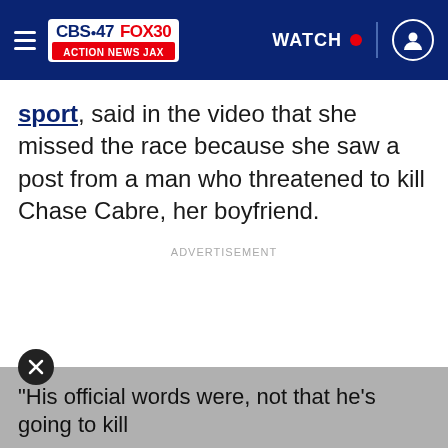[Figure (screenshot): CBS47 FOX30 Action News Jax navigation bar with hamburger menu, logo, WATCH label with red dot, and user icon on dark blue background]
sport, said in the video that she missed the race because she saw a post from a man who threatened to kill Chase Cabre, her boyfriend.
ADVERTISEMENT
“His official words were, not that he’s going to kill